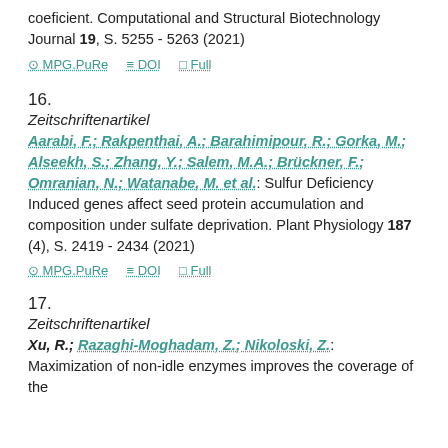coeficient. Computational and Structural Biotechnology Journal 19, S. 5255 - 5263 (2021)
⊙ MPG.PuRe  ≡ DOI  □ Full
16.
Zeitschriftenartikel
Aarabi, F.; Rakpenthai, A.; Barahimipour, R.; Gorka, M.; Alseekh, S.; Zhang, Y.; Salem, M.A.; Brückner, F.; Omranian, N.; Watanabe, M. et al.: Sulfur Deficiency Induced genes affect seed protein accumulation and composition under sulfate deprivation. Plant Physiology 187 (4), S. 2419 - 2434 (2021)
⊙ MPG.PuRe  ≡ DOI  □ Full
17.
Zeitschriftenartikel
Xu, R.; Razaghi-Moghadam, Z.; Nikoloski, Z.: Maximization of non-idle enzymes improves the coverage of the